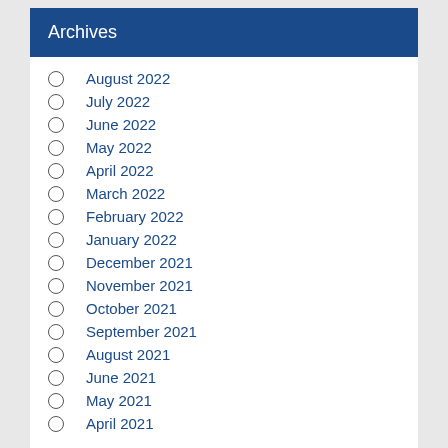Archives
August 2022
July 2022
June 2022
May 2022
April 2022
March 2022
February 2022
January 2022
December 2021
November 2021
October 2021
September 2021
August 2021
June 2021
May 2021
April 2021